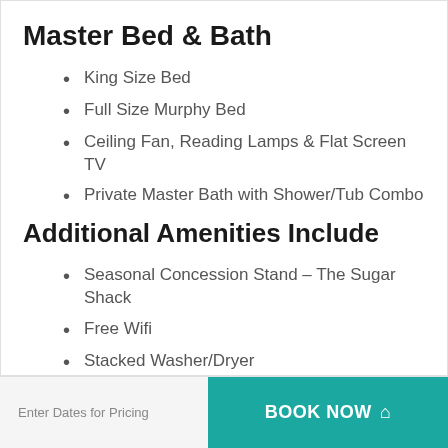Master Bed & Bath
King Size Bed
Full Size Murphy Bed
Ceiling Fan, Reading Lamps & Flat Screen TV
Private Master Bath with Shower/Tub Combo
Additional Amenities Include
Seasonal Concession Stand - The Sugar Shack
Free Wifi
Stacked Washer/Dryer
Gulf View Sun Deck
3 Beach Side Pools (1 is HEATED!)
Kiddie Pool
Enter Dates for Pricing
BOOK NOW